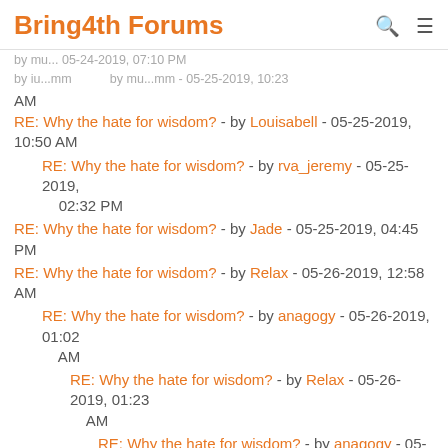Bring4th Forums
RE: Why the hate for wisdom? - by Louisabell - 05-25-2019, 10:50 AM
RE: Why the hate for wisdom? - by rva_jeremy - 05-25-2019, 02:32 PM
RE: Why the hate for wisdom? - by Jade - 05-25-2019, 04:45 PM
RE: Why the hate for wisdom? - by Relax - 05-26-2019, 12:58 AM
RE: Why the hate for wisdom? - by anagogy - 05-26-2019, 01:02 AM
RE: Why the hate for wisdom? - by Relax - 05-26-2019, 01:23 AM
RE: Why the hate for wisdom? - by anagogy - 05-26-2019, 01:29 AM
RE: Why the hate for wisdom? - by randomoaf - 05-26-2019, 01:02 AM
RE: Why the hate for wisdom? - by Louisabell - 05-26-2019, 01:13 AM
RE: Why the hate for wisdom? - by randomoaf - 05-26-2019, 01:04 AM